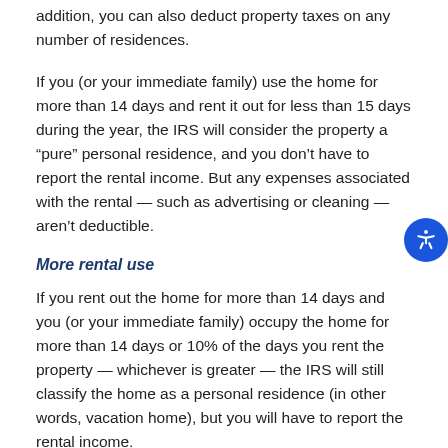addition, you can also deduct property taxes on any number of residences.
If you (or your immediate family) use the home for more than 14 days and rent it out for less than 15 days during the year, the IRS will consider the property a “pure” personal residence, and you don’t have to report the rental income. But any expenses associated with the rental — such as advertising or cleaning — aren’t deductible.
More rental use
If you rent out the home for more than 14 days and you (or your immediate family) occupy the home for more than 14 days or 10% of the days you rent the property — whichever is greater — the IRS will still classify the home as a personal residence (in other words, vacation home), but you will have to report the rental income.